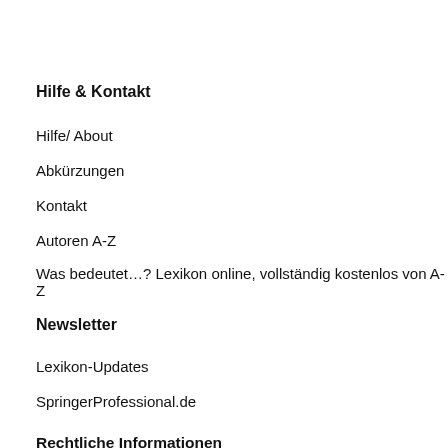Hilfe & Kontakt
Hilfe/ About
Abkürzungen
Kontakt
Autoren A-Z
Was bedeutet…? Lexikon online, vollständig kostenlos von A-Z
Newsletter
Lexikon-Updates
SpringerProfessional.de
Rechtliche Informationen
Impressum